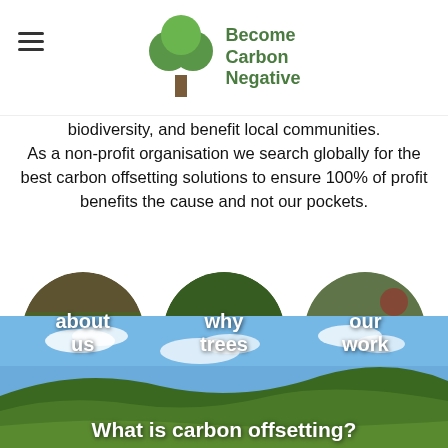[Figure (logo): Become Carbon Negative logo with green tree icon and text]
biodiversity, and benefit local communities.
As a non-profit organisation we search globally for the best carbon offsetting solutions to ensure 100% of profit benefits the cause and not our pockets.
[Figure (illustration): Three circular photo buttons: 'about us' (forest path), 'why trees' (green foliage), 'our work' (plants with berries)]
[Figure (photo): Landscape photo of rolling green hills under blue sky with clouds, with partial heading text 'What is carbon offsetting?']